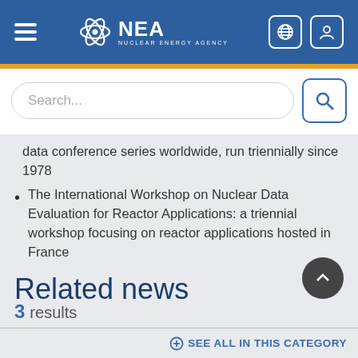[Figure (logo): NEA Nuclear Energy Agency logo in white on blue header bar with hamburger menu and navigation icons]
Search...
data conference series worldwide, run triennially since 1978
The International Workshop on Nuclear Data Evaluation for Reactor Applications: a triennial workshop focusing on reactor applications hosted in France
Related news
3 results
SEE ALL IN THIS CATEGORY